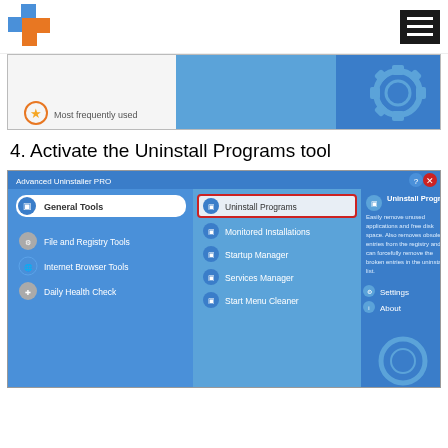[Figure (logo): Blue and orange square logo with 'f' letter mark]
[Figure (screenshot): Partial screenshot of Advanced Uninstaller PRO showing 'Most frequently used' section with blue/light-blue UI]
4. Activate the Uninstall Programs tool
[Figure (screenshot): Screenshot of Advanced Uninstaller PRO main window showing General Tools selected, with Uninstall Programs highlighted in red box, and right panel showing description of Uninstall Programs feature. Also shows File and Registry Tools, Internet Browser Tools, Daily Health Check, Monitored Installations, Startup Manager, Services Manager, Start Menu Cleaner. Settings and About links visible.]